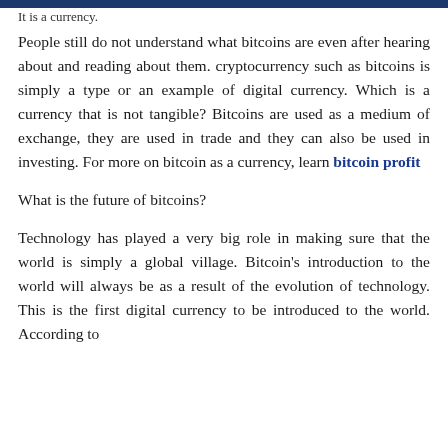It is a currency.
People still do not understand what bitcoins are even after hearing about and reading about them. cryptocurrency such as bitcoins is simply a type or an example of digital currency. Which is a currency that is not tangible? Bitcoins are used as a medium of exchange, they are used in trade and they can also be used in investing. For more on bitcoin as a currency, learn bitcoin profit
What is the future of bitcoins?
Technology has played a very big role in making sure that the world is simply a global village. Bitcoin's introduction to the world will always be as a result of the evolution of technology. This is the first digital currency to be introduced to the world. According to